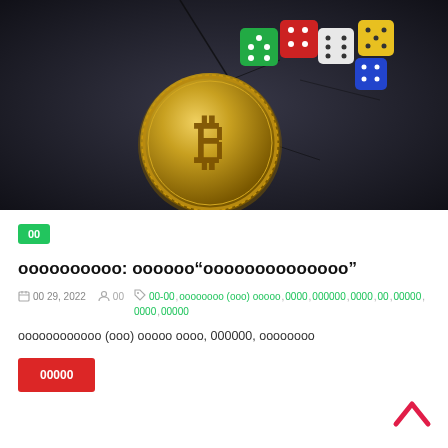[Figure (photo): Bitcoin gold coin with colorful dice (red, green, white, yellow, blue) on a dark cracked stone background]
00
oooooooooo: oooooo“oooooooooooooo”
00 29, 2022  00  00-00, oooooooo (ooo) ooooo, 0000, 000000, 0000, 00, 00000, 0000, 0 0000
oooooooooooo (ooo) ooooo oooo, 000000, oooooooo
00000